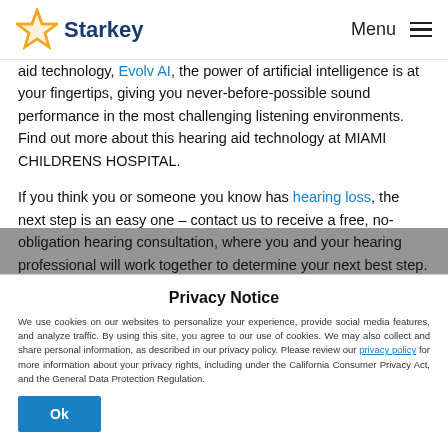Starkey | Menu
aid technology, Evolv AI, the power of artificial intelligence is at your fingertips, giving you never-before-possible sound performance in the most challenging listening environments. Find out more about this hearing aid technology at MIAMI CHILDRENS HOSPITAL.
If you think you or someone you know has hearing loss, the next step is an easy one – contact us to receive a free, no-obligation hearing consultation, where you and your hearing professional will work together to determine your next best step. These experts have the
Privacy Notice
We use cookies on our websites to personalize your experience, provide social media features, and analyze traffic. By using this site, you agree to our use of cookies. We may also collect and share personal information, as described in our privacy policy. Please review our privacy policy for more information about your privacy rights, including under the California Consumer Privacy Act, and the General Data Protection Regulation.
Ok